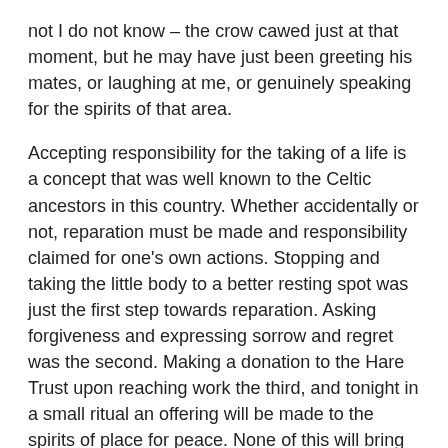not I do not know – the crow cawed just at that moment, but he may have just been greeting his mates, or laughing at me, or genuinely speaking for the spirits of that area.
Accepting responsibility for the taking of a life is a concept that was well known to the Celtic ancestors in this country. Whether accidentally or not, reparation must be made and responsibility claimed for one's own actions. Stopping and taking the little body to a better resting spot was just the first step towards reparation. Asking forgiveness and expressing sorrow and regret was the second. Making a donation to the Hare Trust upon reaching work the third, and tonight in a small ritual an offering will be made to the spirits of place for peace. None of this will bring that little life back. However, it is a constant reminder of my place in the cycle of life, in the grand web of all our lives, how we are all connected, and how each of us is responsible for our actions.
Why all this effort just for a rabbit, some may wonder? To me, all